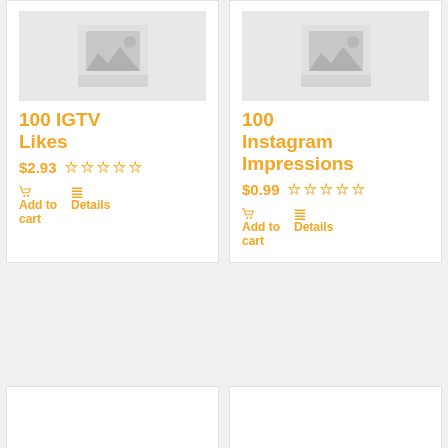[Figure (photo): Placeholder product image for 100 IGTV Likes]
100 IGTV Likes
$2.93 ☆☆☆☆☆
Add to cart | Details
[Figure (photo): Placeholder product image for 100 Instagram Impressions]
100 Instagram Impressions
$0.99 ☆☆☆☆☆
Add to cart | Details